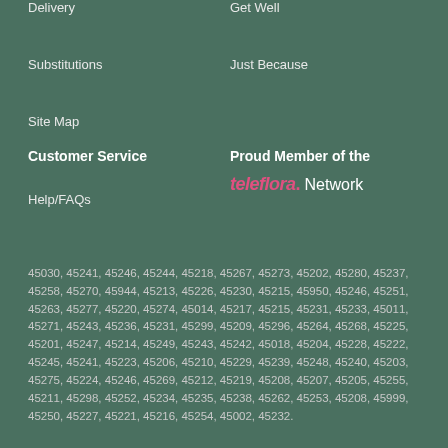Delivery
Get Well
Substitutions
Just Because
Site Map
Customer Service
Proud Member of the
Help/FAQs
[Figure (logo): Teleflora Network logo with pink stylized text and dot]
45030, 45241, 45246, 45244, 45218, 45267, 45273, 45202, 45280, 45237, 45258, 45270, 45944, 45213, 45226, 45230, 45215, 45950, 45246, 45251, 45263, 45277, 45220, 45274, 45014, 45217, 45215, 45231, 45233, 45011, 45271, 45243, 45236, 45231, 45299, 45209, 45296, 45264, 45268, 45225, 45201, 45247, 45214, 45249, 45243, 45242, 45018, 45204, 45228, 45222, 45245, 45241, 45223, 45206, 45210, 45229, 45239, 45248, 45240, 45203, 45275, 45224, 45246, 45269, 45212, 45219, 45208, 45207, 45205, 45255, 45211, 45298, 45252, 45234, 45235, 45238, 45262, 45253, 45208, 45999, 45250, 45227, 45221, 45216, 45254, 45002, 45232.